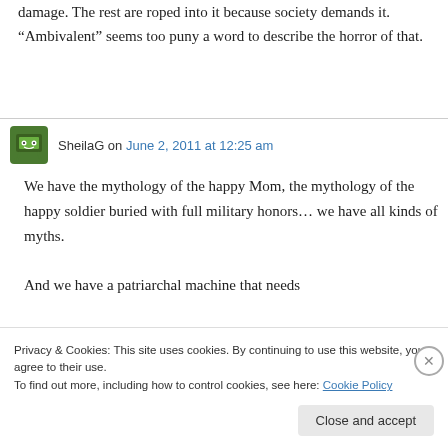damage. The rest are roped into it because society demands it. “Ambivalent” seems too puny a word to describe the horror of that.
SheilaG on June 2, 2011 at 12:25 am
We have the mythology of the happy Mom, the mythology of the happy soldier buried with full military honors… we have all kinds of myths.
And we have a patriarchal machine that needs
Privacy & Cookies: This site uses cookies. By continuing to use this website, you agree to their use.
To find out more, including how to control cookies, see here: Cookie Policy